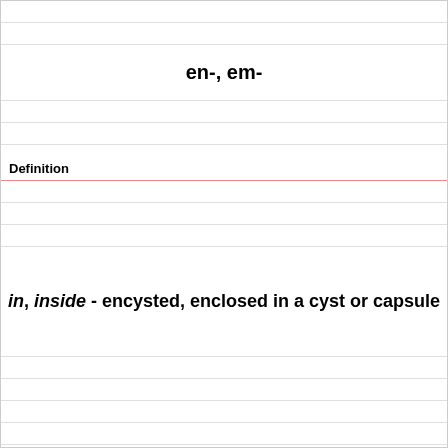en-, em-
Definition
in, inside - encysted, enclosed in a cyst or capsule
Term